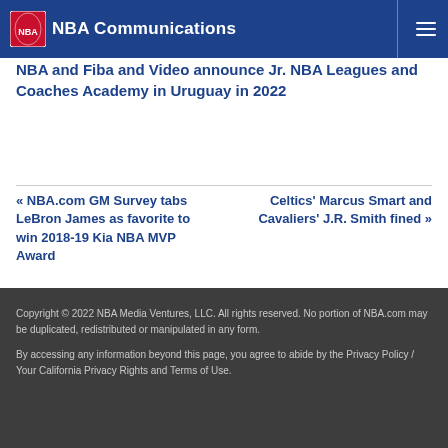NBA Communications
NBA and Fiba and Video announced Jr. NBA Leagues and Coaches Academy in Uruguay in 2022
« NBA.com GM Survey tabs LeBron James as favorite to win 2018-19 Kia NBA MVP Award
Celtics' Marcus Smart and Cavaliers' J.R. Smith fined »
Copyright © 2022 NBA Media Ventures, LLC. All rights reserved. No portion of NBA.com may be duplicated, redistributed or manipulated in any form.

By accessing any information beyond this page, you agree to abide by the Privacy Policy / Your California Privacy Rights and Terms of Use.